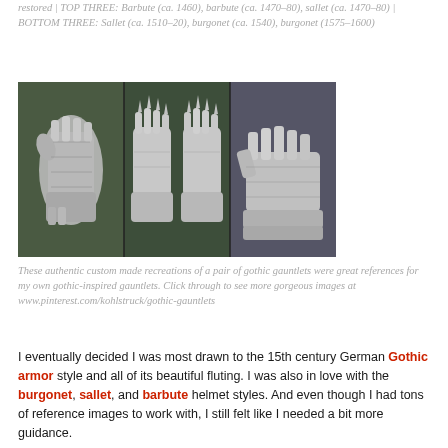restored | TOP THREE: Barbute (ca. 1460), barbute (ca. 1470–80), sallet (ca. 1470–80) | BOTTOM THREE: Sallet (ca. 1510–20), burgonet (ca. 1540), burgonet (1575–1600)
[Figure (photo): Three photographs of custom-made gothic gauntlets (medieval armored gloves) in shiny metal, shown from different angles on a dark background.]
These authentic custom made recreations of a pair of gothic gauntlets were great references for my own gothic-inspired gauntlets. Click through to see more gorgeous images at www.pinterest.com/kohlstruck/gothic-gauntlets
I eventually decided I was most drawn to the 15th century German Gothic armor style and all of its beautiful fluting. I was also in love with the burgonet, sallet, and barbute helmet styles. And even though I had tons of reference images to work with, I still felt like I needed a bit more guidance.